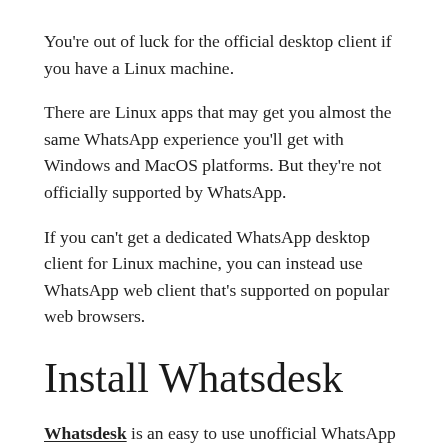You're out of luck for the official desktop client if you have a Linux machine.
There are Linux apps that may get you almost the same WhatsApp experience you'll get with Windows and MacOS platforms. But they're not officially supported by WhatsApp.
If you can't get a dedicated WhatsApp desktop client for Linux machine, you can instead use WhatsApp web client that's supported on popular web browsers.
Install Whatsdesk
Whatsdesk is an easy to use unofficial WhatsApp client for Linux. Instead of waiting for an official WhatsApp desktop client for Linux systems, go and install Whatsdesk.